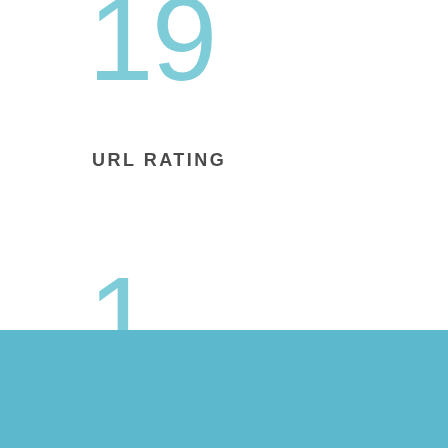19
URL RATING
1
CITATION FLOW
1
[Figure (other): Teal/light blue colored horizontal bar at the bottom of the page]